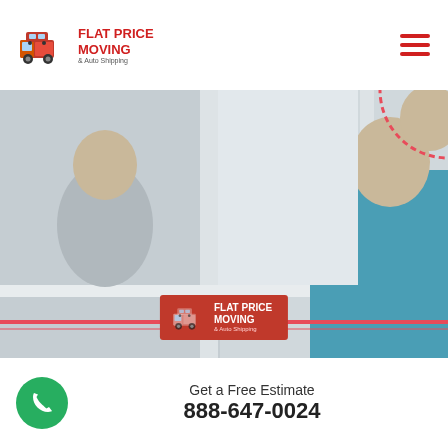[Figure (logo): Flat Price Moving & Auto Shipping logo with red truck icon and red/dark text]
[Figure (photo): Two children near a window, one laughing child sitting on a windowsill and another covered in a blue blanket. Flat Price Moving logo overlay in the center-bottom of the image.]
Download MOVING CHECKLIST
Get a Free Estimate 888-647-0024